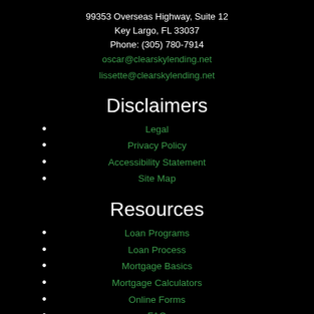99353 Overseas Highway, Suite 12
Key Largo, FL 33037
Phone: (305) 780-7914
oscar@clearskylending.net
lissette@clearskylending.net
Disclaimers
Legal
Privacy Policy
Accessibility Statement
Site Map
Resources
Loan Programs
Loan Process
Mortgage Basics
Mortgage Calculators
Online Forms
FAQ
[Figure (illustration): Equal housing logo — house silhouette with an equals sign inside, white on black background]